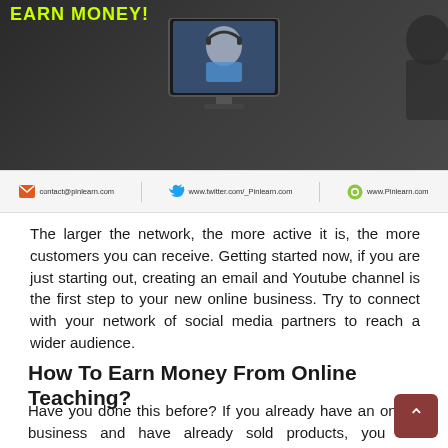[Figure (photo): Dark-tinted banner image showing a person wearing a headset at a computer monitor, with text 'EARN MONEY!' in yellow-green at the top. Green bar at bottom of image. Contact bar beneath with email, Twitter, and website icons.]
The larger the network, the more active it is, the more customers you can receive. Getting started now, if you are just starting out, creating an email and Youtube channel is the first step to your new online business. Try to connect with your network of social media partners to reach a wider audience.
How To Earn Money From Online Teaching?
Have you done this before? If you already have an online business and have already sold products, you are interested and should expect a high conversion rate from